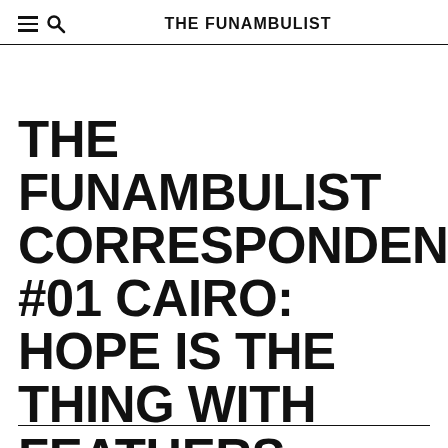THE FUNAMBULIST
THE FUNAMBULIST CORRESPONDENTS #01 CAIRO: HOPE IS THE THING WITH FEATHERS